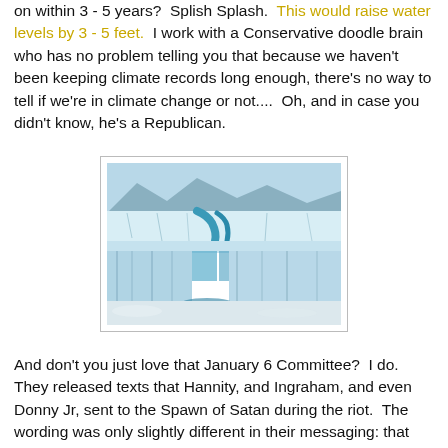on within 3 - 5 years?  Splish Splash.  This would raise water levels by 3 - 5 feet.  I work with a Conservative doodle brain who has no problem telling you that because we haven't been keeping climate records long enough, there's no way to tell if we're in climate change or not....  Oh, and in case you didn't know, he's a Republican.
[Figure (photo): Photograph of a glacial meltwater waterfall flowing over an ice sheet edge into an icy landscape, with mountains in the background and blue meltwater channels visible.]
And don't you just love that January 6 Committee?  I do.  They released texts that Hannity, and Ingraham, and even Donny Jr, sent to the Spawn of Satan during the riot.  The wording was only slightly different in their messaging: that the rioters were going to "destroy everything we've built."